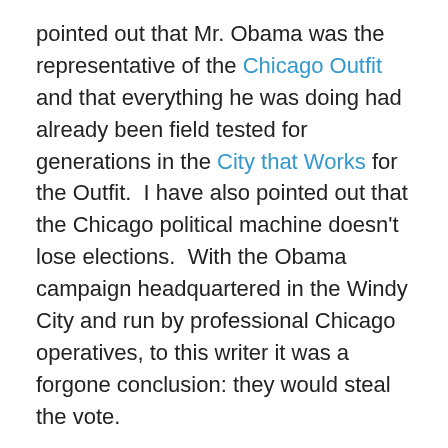pointed out that Mr. Obama was the representative of the Chicago Outfit and that everything he was doing had already been field tested for generations in the City that Works for the Outfit.  I have also pointed out that the Chicago political machine doesn't lose elections.  With the Obama campaign headquartered in the Windy City and run by professional Chicago operatives, to this writer it was a forgone conclusion: they would steal the vote.
The massive political machines the democrats have constructed in major cities act as vote faucets that swing their states predictably into the blue column.  The irregularities with voting machines, the hundreds of precincts that went 99 to 100 % for Obama, and the legions of voters who couldn't even speak let alone read English all point to the arrival of third world elections to the